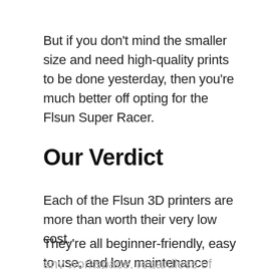But if you don't mind the smaller size and need high-quality prints to be done yesterday, then you're much better off opting for the Flsun Super Racer.
Our Verdict
Each of the Flsun 3D printers are more than worth their very low cost.
They're all beginner-friendly, easy to use, and low maintenance machines that will fit well into
any workspace, regardless of your experience